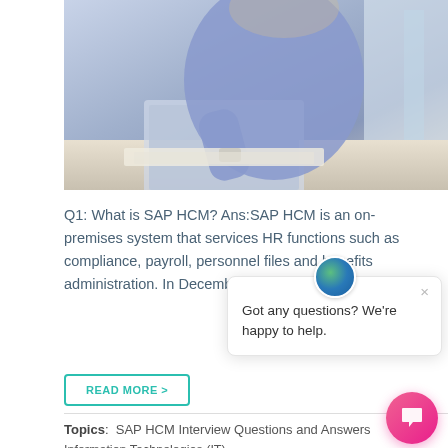[Figure (photo): Person leaning over a desk with a laptop, wearing a blue shirt and watch, in an office or workspace environment]
Q1: What is SAP HCM? Ans:SAP HCM is an on-premises system that services HR functions such as compliance, payroll, personnel files and benefits administration. In December 2011, SAP announced its …
READ MORE >
[Figure (screenshot): Chat popup widget with globe icon, close button (×), and text: Got any questions? We're happy to help.]
Topics: SAP HCM Interview Questions and Answers
Information Technologies (IT)